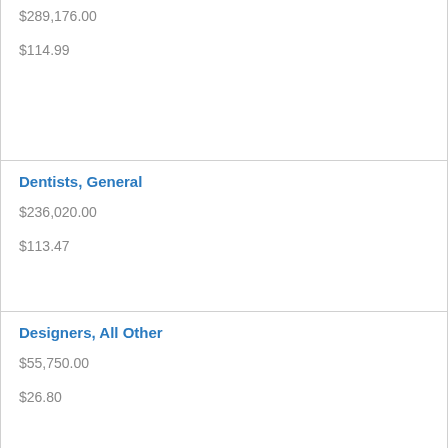| $289,176.00
$114.99 |
| Dentists, General
$236,020.00
$113.47 |
| Designers, All Other
$55,750.00
$26.80 |
| Desktop Publishers
$43,360.00
$20.85 |